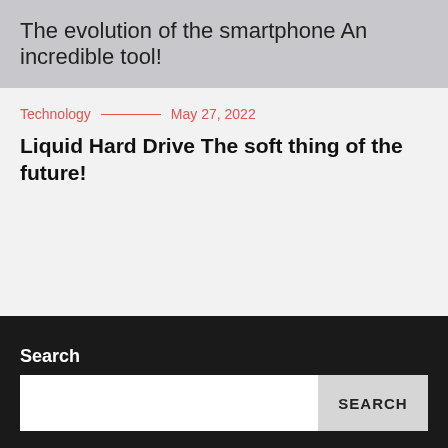The evolution of the smartphone An incredible tool!
Technology — May 27, 2022
Liquid Hard Drive The soft thing of the future!
Search
2 effective online marketing techniques that your business can use
What are backlinks (and why are they so important)?